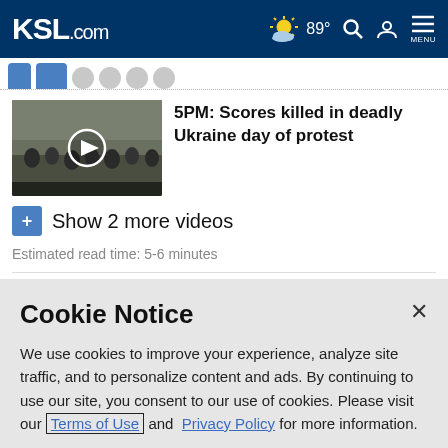KSL.com  89°  MENU
[Figure (screenshot): Video thumbnail of Ukrainian protest scene with play button overlay]
5PM: Scores killed in deadly Ukraine day of protest
Show 2 more videos
Estimated read time: 5-6 minutes
Cookie Notice
We use cookies to improve your experience, analyze site traffic, and to personalize content and ads. By continuing to use our site, you consent to our use of cookies. Please visit our Terms of Use and  Privacy Policy for more information.
Continue